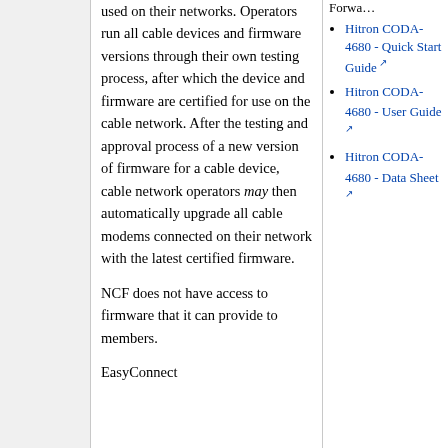used on their networks. Operators run all cable devices and firmware versions through their own testing process, after which the device and firmware are certified for use on the cable network. After the testing and approval process of a new version of firmware for a cable device, cable network operators may then automatically upgrade all cable modems connected on their network with the latest certified firmware.
NCF does not have access to firmware that it can provide to members.
EasyConnect
Forwa…
Hitron CODA-4680 - Quick Start Guide
Hitron CODA-4680 - User Guide
Hitron CODA-4680 - Data Sheet